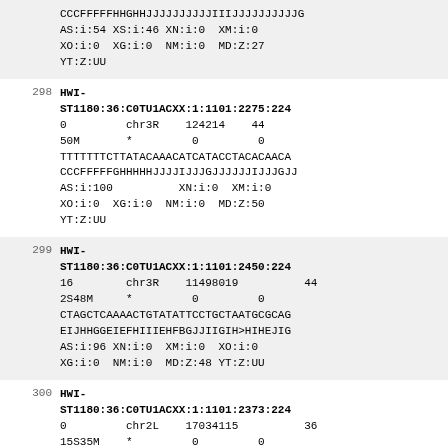CCCFFFFFHHGHHJJJJJJJJJJIIIJJJJJJJJJJG
AS:i:54 XS:i:46 XN:i:0  XM:i:0
XO:i:0  XG:i:0  NM:i:0  MD:Z:27
YT:Z:UU
298  HWI-ST1180:36:C0TU1ACXX:1:1101:2275:224
0         chr3R    124214    44
50M       *         0         0
TTTTTTCTTATACAAACATCATACCTACACAACА
CCCFFFFFGHHHHJJJJIJJJGJJJJJJIJJJGJJ
AS:i:100          XN:i:0  XM:i:0
XO:i:0  XG:i:0  NM:i:0  MD:Z:50
YT:Z:UU
299  HWI-ST1180:36:C0TU1ACXX:1:1101:2450:224
16        chr3R    11498019  44
2S48M     *         0         0
CTAGCTCAAAACTGTATATTCCTGCTAATGCGCAG
EIJHHGGEIEFHIIIEHFBGJJIIGIH>HIHEJIG
AS:i:96 XN:i:0  XM:i:0  XO:i:0
XG:i:0  NM:i:0  MD:Z:48 YT:Z:UU
300  HWI-ST1180:36:C0TU1ACXX:1:1101:2373:224
0         chr2L    17034115  36
15S35M    *         0         0
TGTTGTTGTTAAGCTAGCTTTTGCATTCCCCCATA
@C@DFFFFHHHHHHJJJJJJJJJJGJIJJJJJJJJJ
AS:i:70 XN:i:0  XM:i:0  XO:i:0
XG:i:0  NM:i:0  MD:Z:35 YT:Z:UU
301  HWI-ST1180:36:C0TU1ACXX:1:1101:2477:225
16        chrX     11854185  ...